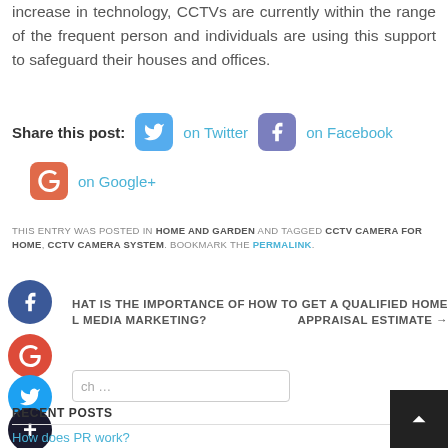increase in technology, CCTVs are currently within the range of the frequent person and individuals are using this support to safeguard their houses and offices.
Share this post: on Twitter on Facebook on Google+
THIS ENTRY WAS POSTED IN HOME AND GARDEN AND TAGGED CCTV CAMERA FOR HOME, CCTV CAMERA SYSTEM. BOOKMARK THE PERMALINK.
WHAT IS THE IMPORTANCE OF SOCIAL MEDIA MARKETING?
HOW TO GET A QUALIFIED HOME APPRAISAL ESTIMATE →
Search …
RECENT POSTS
How does PR work?